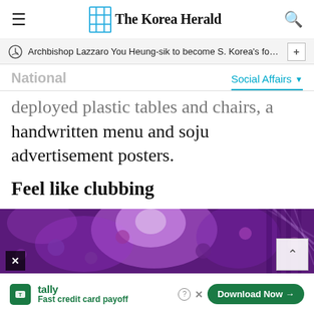The Korea Herald
Archbishop Lazzaro You Heung-sik to become S. Korea's fourth c…
National
Social Affairs
deployed plastic tables and chairs, a handwritten menu and soju advertisement posters.
Feel like clubbing
[Figure (photo): Purple-lit nightclub interior with balloons and light beams]
Fast credit card payoff